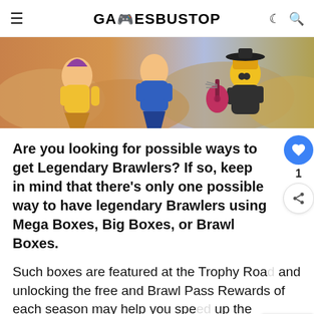GAMESBUSTOP
[Figure (illustration): Colorful game characters from Brawl Stars running against a golden/cloudy background. Characters include a purple-haired girl, a blue-clad character, and a yellow robot with a guitar.]
Are you looking for possible ways to get Legendary Brawlers? If so, keep in mind that there's only one possible way to have legendary Brawlers using Mega Boxes, Big Boxes, or Brawl Boxes.
Such boxes are featured at the Trophy Road and unlocking the free and Brawl Pass Rewards of each season may help you speed up the process of redeeming boxes for gems,